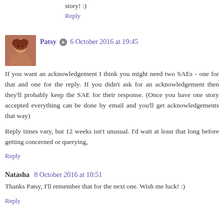story! :)
Reply
Patsy ✏ 6 October 2016 at 19:45
If you want an acknowledgement I think you might need two SAEs - one for that and one for the reply. If you didn't ask for an acknowledgement then they'll probably keep the SAE for their response. (Once you have one story accepted everything can be done by email and you'll get acknowledgements that way)
Reply times vary, but 12 weeks isn't unusual. I'd wait at least that long before getting concerned or querying,
Reply
Natasha 8 October 2016 at 10:51
Thanks Patsy, I'll remember that for the next one. Wish me luck! :)
Reply